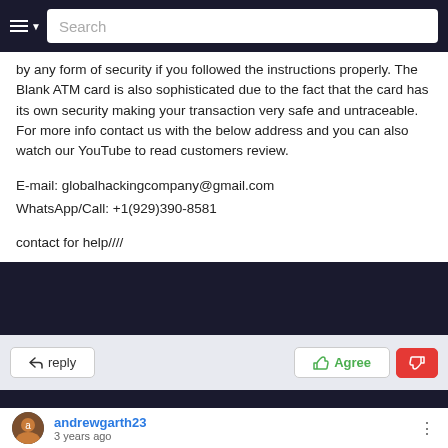Search
by any form of security if you followed the instructions properly. The Blank ATM card is also sophisticated due to the fact that the card has its own security making your transaction very safe and untraceable. For more info contact us with the below address and you can also watch our YouTube to read customers review.

E-mail: globalhackingcompany@gmail.com
WhatsApp/Call: +1(929)390-8581

contact for help////
andrewgarth23
3 years ago